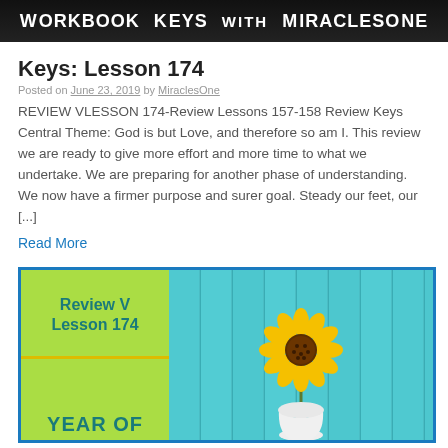Workbook Keys with MiraclesOne
Keys: Lesson 174
Posted on June 23, 2019 by MiraclesOne
REVIEW VLESSON 174-Review Lessons 157-158 Review Keys Central Theme: God is but Love, and therefore so am I. This review we are ready to give more effort and more time to what we undertake. We are preparing for another phase of understanding. We now have a firmer purpose and surer goal. Steady our feet, our [...]
Read More
[Figure (illustration): Article thumbnail image with green panel on the left showing 'Review V Lesson 174' text in teal, a yellow horizontal line, and 'YEAR OF' text at the bottom in teal. Right panel shows a teal/turquoise wooden plank background with a sunflower in a white vase.]